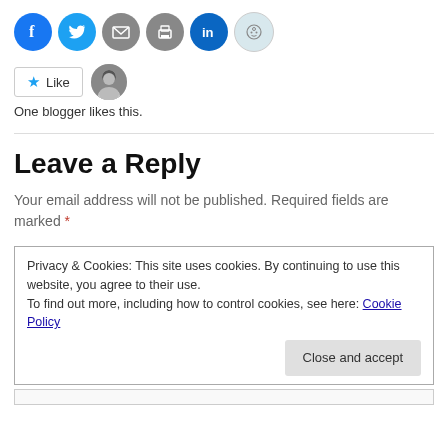[Figure (infographic): Row of social share icon circles: Facebook (blue), Twitter (light blue), Email (gray), Print (gray), LinkedIn (dark blue), Reddit (light blue/gray)]
[Figure (infographic): Like button with star icon and a blogger avatar thumbnail. Text below reads: One blogger likes this.]
One blogger likes this.
Leave a Reply
Your email address will not be published. Required fields are marked *
Privacy & Cookies: This site uses cookies. By continuing to use this website, you agree to their use.
To find out more, including how to control cookies, see here: Cookie Policy
Close and accept